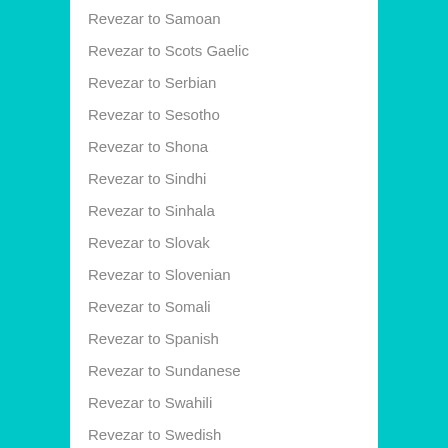Revezar to Samoan
Revezar to Scots Gaelic
Revezar to Serbian
Revezar to Sesotho
Revezar to Shona
Revezar to Sindhi
Revezar to Sinhala
Revezar to Slovak
Revezar to Slovenian
Revezar to Somali
Revezar to Spanish
Revezar to Sundanese
Revezar to Swahili
Revezar to Swedish